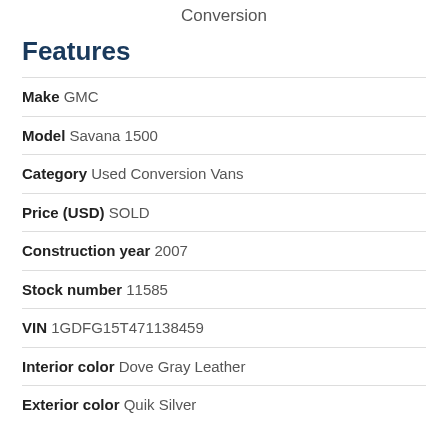Conversion
Features
Make GMC
Model Savana 1500
Category Used Conversion Vans
Price (USD) SOLD
Construction year 2007
Stock number 11585
VIN 1GDFG15T471138459
Interior color Dove Gray Leather
Exterior color Quik Silver